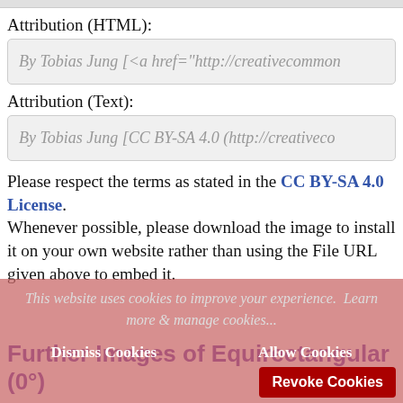Attribution (HTML):
By Tobias Jung [<a href="http://creativecommons...
Attribution (Text):
By Tobias Jung [CC BY-SA 4.0 (http://creativeco...
Please respect the terms as stated in the CC BY-SA 4.0 License. Whenever possible, please download the image to install it on your own website rather than using the File URL given above to embed it.
This website uses cookies to improve your experience.  Learn more & manage cookies...
Dismiss Cookies   Allow Cookies   Revoke Cookies
Further Images of Equirectangular (0°)